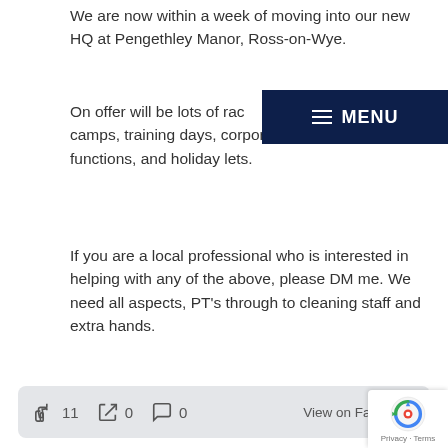We are now within a week of moving into our new HQ at Pengethley Manor, Ross-on-Wye.
[Figure (screenshot): Dark navy blue MENU button overlay with hamburger icon and MENU text]
On offer will be lots of rac... club, boot-camps, training days, corporate and wedding functions, and holiday lets.
If you are a local professional who is interested in helping with any of the above, please DM me. We need all aspects, PT's through to cleaning staff and extra hands.
Likewise if you are a pro ... See More
👍 11  🔄 0  💬 0     View on Facebook